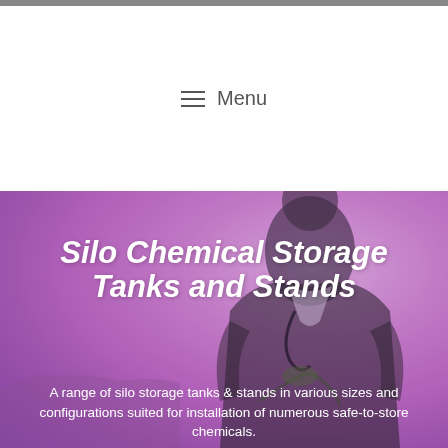Menu
[Figure (photo): Hero background showing a person in dark clothing against a pink/purple tinted background, likely a worker in a field.]
Silo Chemical Storage Tanks and Stands
A range of silo storage tanks & stands in various sizes and configurations suited for installation of numerous safe-to-store chemicals.